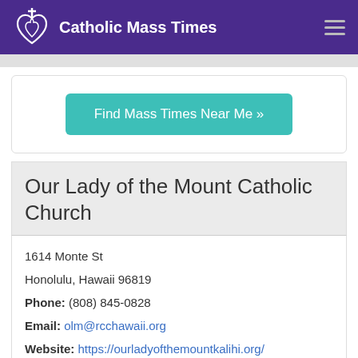Catholic Mass Times
[Figure (other): Find Mass Times Near Me button (teal rounded rectangle)]
Our Lady of the Mount Catholic Church
1614 Monte St
Honolulu, Hawaii 96819
Phone: (808) 845-0828
Email: olm@rcchawaii.org
Website: https://ourladyofthemountkalihi.org/